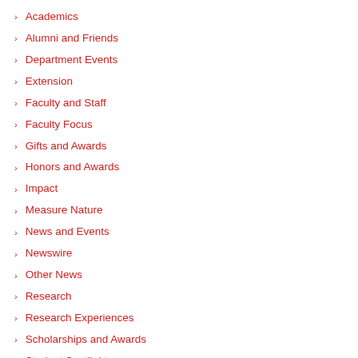Academics
Alumni and Friends
Department Events
Extension
Faculty and Staff
Faculty Focus
Gifts and Awards
Honors and Awards
Impact
Measure Nature
News and Events
Newswire
Other News
Research
Research Experiences
Scholarships and Awards
Student Spotlight
Students
The Long View